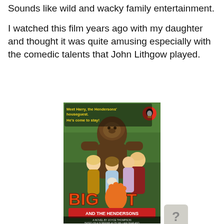Sounds like wild and wacky family entertainment.
I watched this film years ago with my daughter and thought it was quite amusing especially with the comedic talents that John Lithgow played.
[Figure (photo): Book cover of 'Bigfoot and the Hendersons' published by Puffin/Penguin. Shows a large Bigfoot/Sasquatch creature standing behind a family (man, woman, teenage girl, younger girl). Title text reads 'BIGFOOT AND THE HENDERSONS' in colorful lettering with a large orange footprint. Top text reads 'Meet Harry, the Hendersons' houseguest. He's come to stay!' A novel by Joyce Thompson, based on a screenplay by William Dear and William E. Martin & Ezra D. Rappaport.]